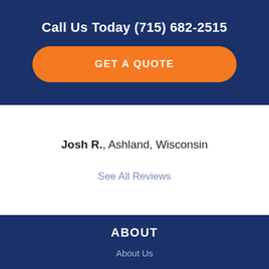Call Us Today (715) 682-2515
GET A QUOTE
Josh R., Ashland, Wisconsin
See All Reviews
ABOUT
About Us